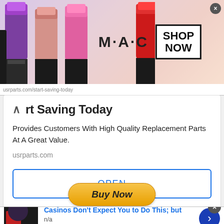[Figure (screenshot): MAC cosmetics advertisement banner with lipsticks image, MAC logo, and SHOP NOW button]
rt Saving Today
Provides Customers With High Quality Replacement Parts At A Great Value.
usrparts.com
OPEN
[Figure (screenshot): Buy Now button with golden gradient]
[Figure (screenshot): Bottom advertisement: Casinos Don't Expect You to Do This; but, n/a, daily-winners.com]